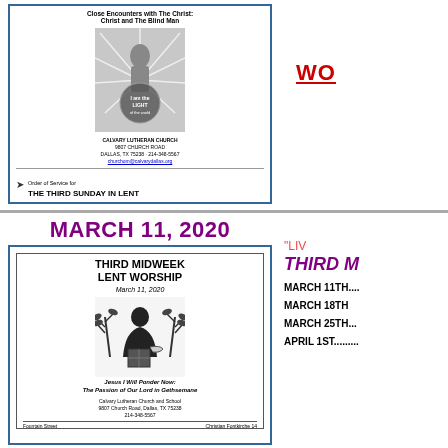[Figure (other): Church bulletin card for The Third Sunday in Lent at Calvary Lutheran Church, featuring an image of Christ as light of the world]
Close Encounters with The Christ: Christ and The Blind Man
CALVARY LUTHERAN CHURCH
9807 CHURCH ROAD
DALLAS, TX 75238 · 214-348-5567
churchom@calvarydallas.org
Order of Service for
THE THIRD SUNDAY IN LENT
WO
MARCH 11, 2020
[Figure (other): Church bulletin for Third Midweek Lent Worship, March 11, 2020, featuring illustration of a hooded figure with plants. Bottom text: Jesus I Will Ponder Now: The Passion of Our Lord in Gethsemane. Calvary Lutheran Church and School, 9807 Church Road, Dallas, TX 75238, 214-348-5567]
"LIV
THIRD M
MARCH 11TH....
MARCH 18TH
MARCH 25TH...
APRIL 1ST.........